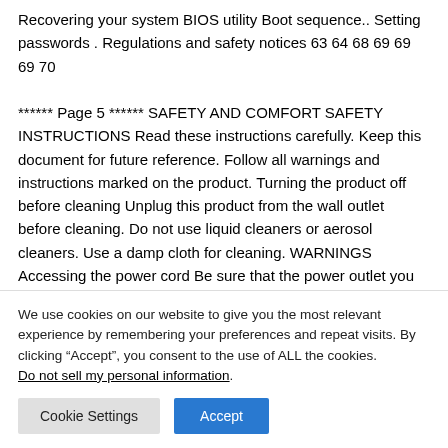Recovering your system BIOS utility Boot sequence.. Setting passwords . Regulations and safety notices 63 64 68 69 69 69 70
****** Page 5 ****** SAFETY AND COMFORT SAFETY INSTRUCTIONS Read these instructions carefully. Keep this document for future reference. Follow all warnings and instructions marked on the product. Turning the product off before cleaning Unplug this product from the wall outlet before cleaning. Do not use liquid cleaners or aerosol cleaners. Use a damp cloth for cleaning. WARNINGS Accessing the power cord Be sure that the power outlet you plug the power cord into is
We use cookies on our website to give you the most relevant experience by remembering your preferences and repeat visits. By clicking “Accept”, you consent to the use of ALL the cookies.
Do not sell my personal information.